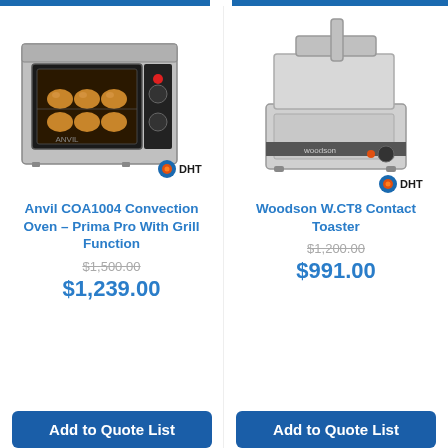[Figure (photo): Anvil COA1004 Convection Oven – Prima Pro With Grill Function, stainless steel convection oven with glass door showing bread rolls inside, with DHT logo]
[Figure (photo): Woodson W.CT8 Contact Toaster, stainless steel contact toaster with lid open, with DHT logo]
Anvil COA1004 Convection Oven – Prima Pro With Grill Function
$1,500.00
$1,239.00
Add to Quote List
Woodson W.CT8 Contact Toaster
$1,200.00
$991.00
Add to Quote List